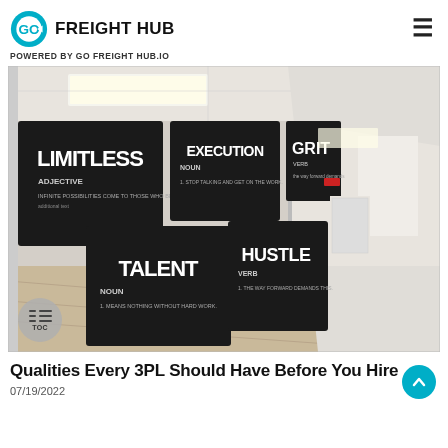GO FREIGHT HUB — POWERED BY GO FREIGHT HUB.IO
[Figure (photo): Office hallway photo with motivational black canvas signs on the wall reading: LIMITLESS (adjective) - Infinite possibilities come to those who believe; EXECUTION (noun); GRIT; TALENT (noun) - 1. Means nothing without hard work; HUSTLE (verb)]
Qualities Every 3PL Should Have Before You Hire
07/19/2022